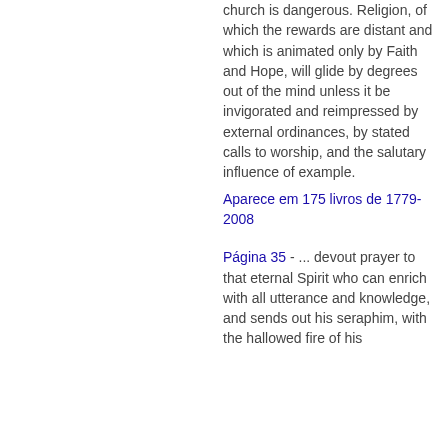church is dangerous. Religion, of which the rewards are distant and which is animated only by Faith and Hope, will glide by degrees out of the mind unless it be invigorated and reimpressed by external ordinances, by stated calls to worship, and the salutary influence of example.
Aparece em 175 livros de 1779-2008
Página 35 - ... devout prayer to that eternal Spirit who can enrich with all utterance and knowledge, and sends out his seraphim, with the hallowed fire of his